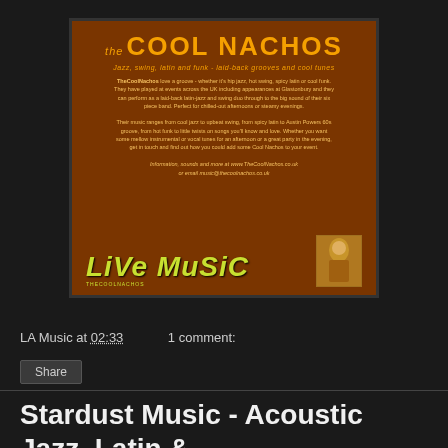[Figure (illustration): The Cool Nachos promotional poster on brown/orange background with yellow-green 'LIVE MUSIC' text and small photo of musician]
LA Music at 02:33    1 comment:
Share
Stardust Music - Acoustic Jazz, Latin & Swing for outdoor events